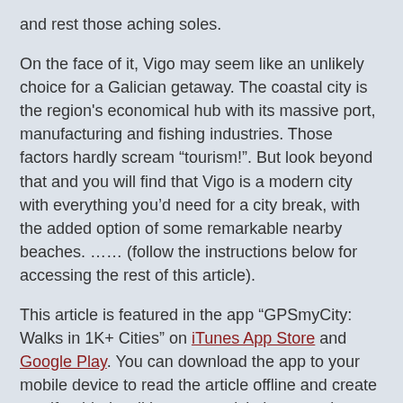and rest those aching soles.
On the face of it, Vigo may seem like an unlikely choice for a Galician getaway. The coastal city is the region's economical hub with its massive port, manufacturing and fishing industries. Those factors hardly scream “tourism!”. But look beyond that and you will find that Vigo is a modern city with everything you’d need for a city break, with the added option of some remarkable nearby beaches. …… (follow the instructions below for accessing the rest of this article).
This article is featured in the app "GPSmyCity: Walks in 1K+ Cities" on iTunes App Store and Google Play. You can download the app to your mobile device to read the article offline and create a self-guided walking tour to visit the attractions featured in this article. The app turns your mobile device into a personal tour guide and it works offline, so no data plan is needed when traveling abroad.